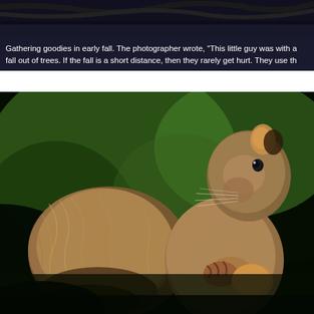[Figure (photo): Top portion of a nature/wildlife photo, dark background with branches visible at the top]
Gathering goodies in early fall. The photographer wrote, "This little guy was with a fall out of trees. If the fall is a short distance, then they rarely get hurt. They use th
[Figure (photo): A fox squirrel photographed up close against a blurred green bokeh background, holding an acorn or nut in its front paws. The squirrel's large fluffy tail is prominently displayed curling behind its body. The animal is looking slightly upward.]